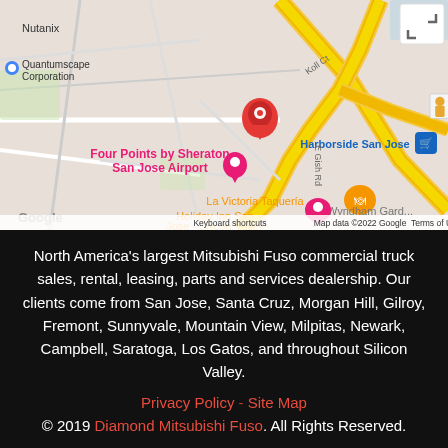[Figure (map): Google Maps screenshot showing area near San Jose Airport with pins for Four Points by Sheraton San Jose Airport (red pin), La Victoria Taqueria, Holiday Inn San Jose - Silicon Valley, Wyndham Garden San Jose Airport, Harborside San Jose, Nutanix, Quantumscape Corporation, Coca-Cola Bottling. Map data ©2022 Google. Keyboard shortcuts. Terms of Use.]
North America's largest Mitsubishi Fuso commercial truck sales, rental, leasing, parts and services dealership. Our clients come from San Jose, Santa Cruz, Morgan Hill, Gilroy, Fremont, Sunnyvale, Mountain View, Milpitas, Newark, Campbell, Saratoga, Los Gatos, and throughout Silicon Valley.
Privacy Policy - Site Map
© 2019 Diamond Mitsubishi Fuso. All Rights Reserved.